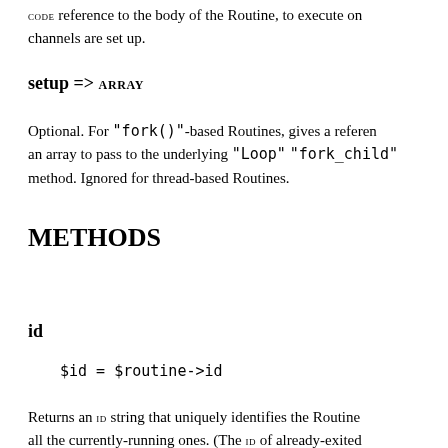CODE reference to the body of the Routine, to execute on channels are set up.
setup => ARRAY
Optional. For "fork()"-based Routines, gives a reference an array to pass to the underlying "Loop" "fork_child" method. Ignored for thread-based Routines.
METHODS
id
$id = $routine->id
Returns an ID string that uniquely identifies the Routine all the currently-running ones. (The ID of already-exited